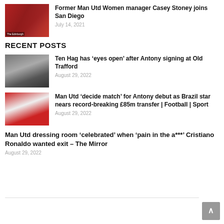[Figure (photo): Thumbnail photo of Casey Stoney at a football ground]
Former Man Utd Women manager Casey Stoney joins San Diego
July 14, 2021
RECENT POSTS
[Figure (photo): Thumbnail photo of Ten Hag at Old Trafford]
Ten Hag has ‘eyes open’ after Antony signing at Old Trafford
August 29, 2022
[Figure (photo): Thumbnail photo of Antony in Ajax kit]
Man Utd ‘decide match’ for Antony debut as Brazil star nears record-breaking £85m transfer | Football | Sport
August 29, 2022
Man Utd dressing room ‘celebrated’ when ‘pain in the a***’ Cristiano Ronaldo wanted exit – The Mirror
August 29, 2022